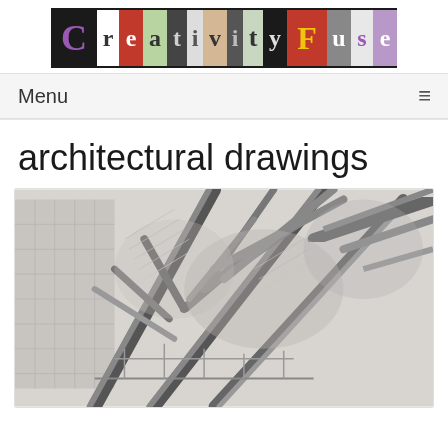CreativityFuse
Menu
architectural drawings
[Figure (illustration): A detailed pencil sketch of an architectural structure showing diagonal structural beams, scaffolding, and a building facade with a grid of windows. The drawing is in graphite on white paper with shading and fine line work depicting a complex structural intersection of wooden or steel poles/beams.]